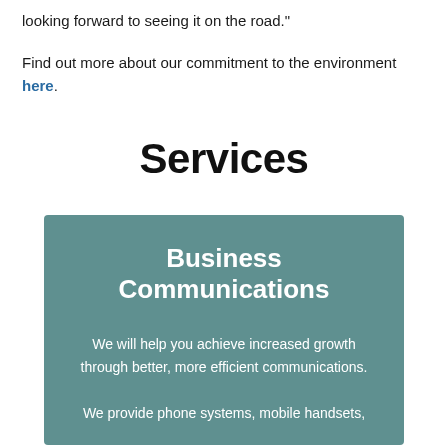looking forward to seeing it on the road."
Find out more about our commitment to the environment here.
Services
Business Communications
We will help you achieve increased growth through better, more efficient communications.
We provide phone systems, mobile handsets,